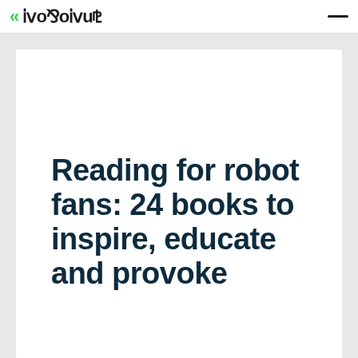RoboruS
Reading for robot fans: 24 books to inspire, educate and provoke